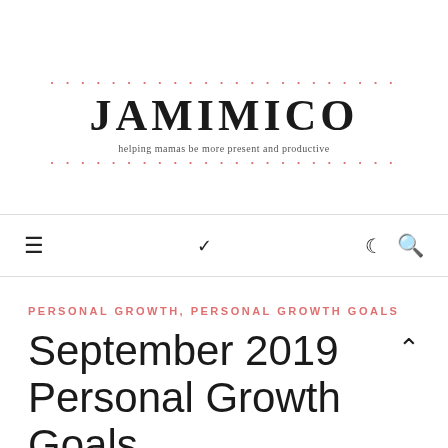JAMIMICO
helping mamas be more present and productive
[Figure (logo): JAMIMICO logo with decorative pink dots above and below, brand name in bold serif, tagline below]
PERSONAL GROWTH, PERSONAL GROWTH GOALS
September 2019 Personal Growth Goals